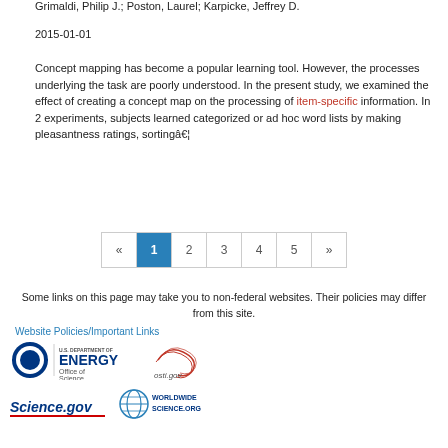Grimaldi, Philip J.; Poston, Laurel; Karpicke, Jeffrey D.
2015-01-01
Concept mapping has become a popular learning tool. However, the processes underlying the task are poorly understood. In the present study, we examined the effect of creating a concept map on the processing of item-specific information. In 2 experiments, subjects learned categorized or ad hoc word lists by making pleasantness ratings, sortingâ€¦
« 1 2 3 4 5 »
Some links on this page may take you to non-federal websites. Their policies may differ from this site.
Website Policies/Important Links
[Figure (logo): U.S. Department of Energy Office of Science logo]
[Figure (logo): osti.gov logo]
[Figure (logo): Science.gov logo]
[Figure (logo): WorldWideScience.org logo]